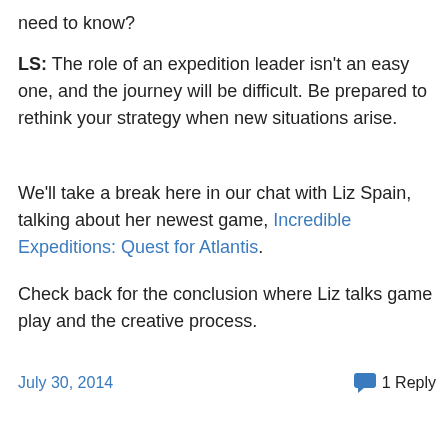need to know?
LS: The role of an expedition leader isn't an easy one, and the journey will be difficult. Be prepared to rethink your strategy when new situations arise.
We'll take a break here in our chat with Liz Spain, talking about her newest game, Incredible Expeditions: Quest for Atlantis.
Check back for the conclusion where Liz talks game play and the creative process.
July 30, 2014    1 Reply